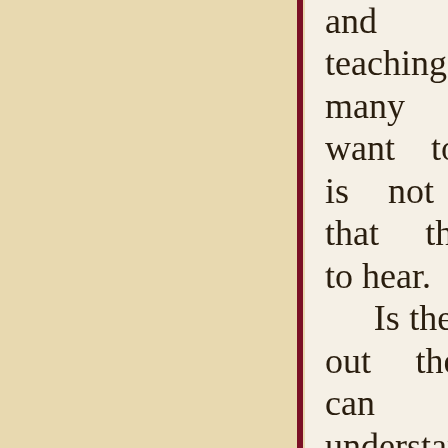and will be teaching that many people want to hear. It is not teaching that they need to hear. Is there anyone out there that can still understand truth? Are there any that want